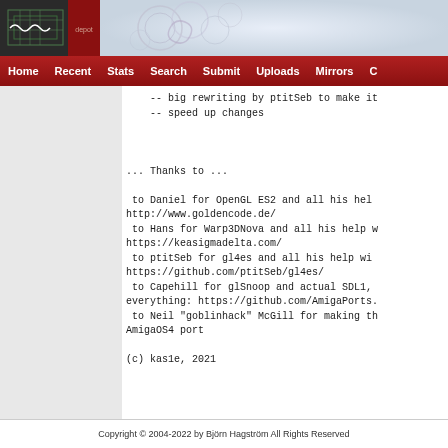[Figure (logo): OS4 Depot logo with red accent and decorative bubble background]
Home  Recent  Stats  Search  Submit  Uploads  Mirrors  C...
-- big rewriting by ptitSeb to make it 
    -- speed up changes


... Thanks to ...

 to Daniel for OpenGL ES2 and all his hel
http://www.goldencode.de/
 to Hans for Warp3DNova and all his help w
https://keasigmadelta.com/
 to ptitSeb for gl4es and all his help wi
https://github.com/ptitSeb/gl4es/
 to Capehill for glSnoop and actual SDL1,
everything: https://github.com/AmigaPorts.
 to Neil "goblinhack" McGill for making t
AmigaOS4 port

(c) kas1e, 2021
Copyright © 2004-2022 by Björn Hagström All Rights Reserved